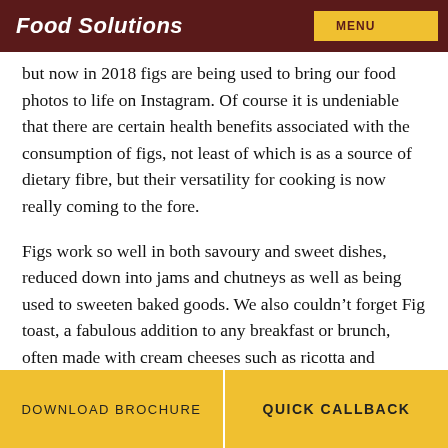Food Solutions
but now in 2018 figs are being used to bring our food photos to life on Instagram. Of course it is undeniable that there are certain health benefits associated with the consumption of figs, not least of which is as a source of dietary fibre, but their versatility for cooking is now really coming to the fore.
Figs work so well in both savoury and sweet dishes, reduced down into jams and chutneys as well as being used to sweeten baked goods. We also couldn’t forget Fig toast, a fabulous addition to any breakfast or brunch, often made with cream cheeses such as ricotta and mascarpone and garnished with honey.
Based on this insight, if you are a retailer or a foodservice
DOWNLOAD BROCHURE | QUICK CALLBACK